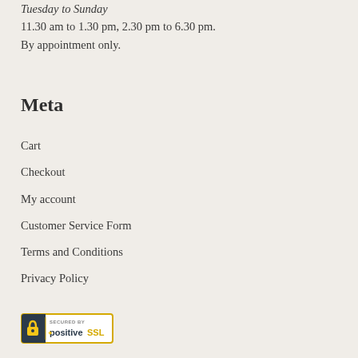Tuesday to Sunday
11.30 am to 1.30 pm, 2.30 pm to 6.30 pm.
By appointment only.
Meta
Cart
Checkout
My account
Customer Service Form
Terms and Conditions
Privacy Policy
[Figure (logo): Secured by PositiveSSL badge with padlock icon and yellow border]